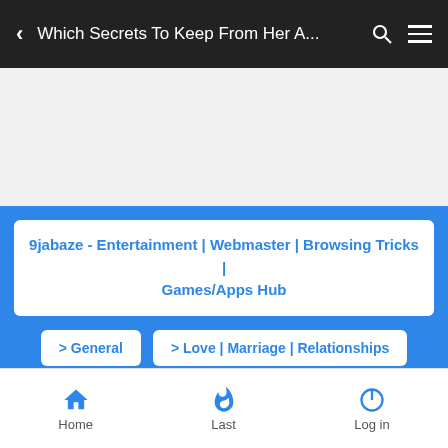< Which Secrets To Keep From Her A...
[Figure (other): Gray advertisement/blank area placeholder]
9jabaze - Entertainment | Webmaster | Browsing Tricks | Games/Apps Hub
> General
> Love | Marriage | Relationships
Which Secrets To Keep From Her And Which To Confess
Home  Last  Log in